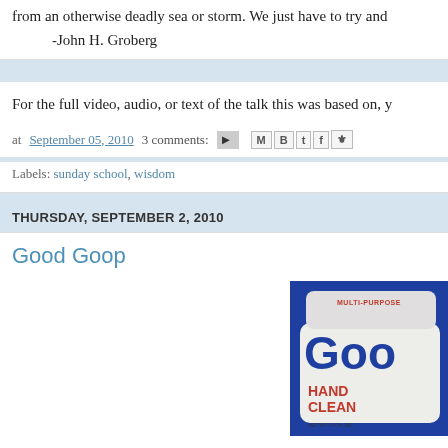from an otherwise deadly sea or storm. We just have to try and
-John H. Groberg
For the full video, audio, or text of the talk this was based on, y
at September 05, 2010   3 comments:
Labels: sunday school, wisdom
THURSDAY, SEPTEMBER 2, 2010
Good Goop
[Figure (photo): A tub of Goo Gone Multi-Purpose Hand Cleaner product]
Picture from and more i